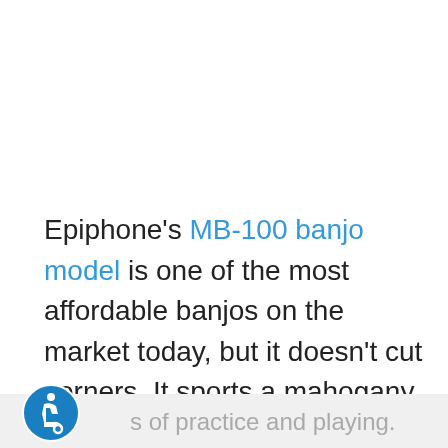Epiphone's MB-100 banjo model is one of the most affordable banjos on the market today, but it doesn't cut corners. It sports a mahogany body and neck, an open-back design, and a rosewood fingerboard. Its sound is best described as warm and plucky – and it's lightweight enough to travel with. It's perfect for beginners and will stand up to hours of practice and playing.